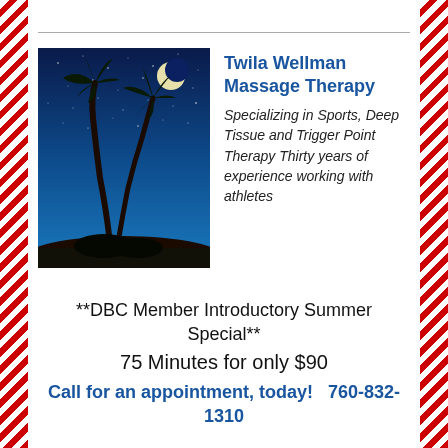[Figure (illustration): Silhouette of two palm trees against a blue night sky with a crescent moon and stars]
Twila Wellman Massage Therapy
Specializing in Sports, Deep Tissue and Trigger Point Therapy Thirty years of experience working with athletes
**DBC Member Introductory Summer Special**
75 Minutes for only $90
Call for an appointment, today!   760-832-1310